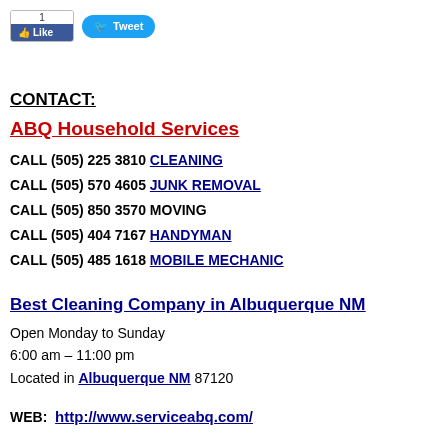[Figure (screenshot): Social share buttons: Facebook Like (count: 1) and Tweet button]
CONTACT:
ABQ Household Services
CALL (505) 225 3810 CLEANING
CALL (505) 570 4605 JUNK REMOVAL
CALL (505) 850 3570 MOVING
CALL (505) 404 7167 HANDYMAN
CALL (505) 485 1618 MOBILE MECHANIC
Best Cleaning Company in Albuquerque NM
Open Monday to Sunday
6:00 am – 11:00 pm
Located in Albuquerque NM 87120
WEB:  http://www.serviceabq.com/